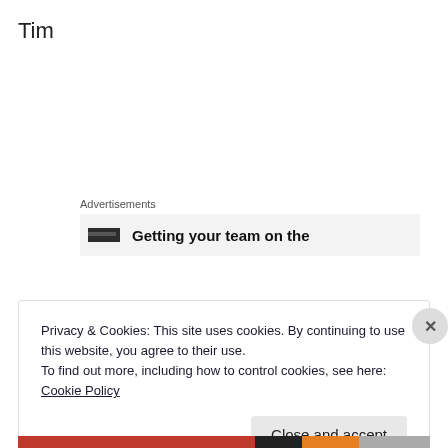Tim
Advertisements
[Figure (screenshot): Advertisement banner with icon and text 'Getting your team on the']
Privacy & Cookies: This site uses cookies. By continuing to use this website, you agree to their use.
To find out more, including how to control cookies, see here: Cookie Policy
Close and accept